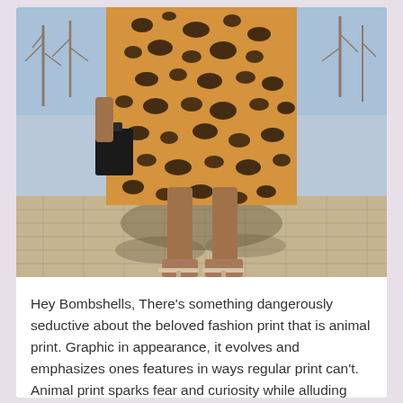[Figure (photo): A person wearing a leopard print midi dress and clear strappy heeled sandals, holding a small black handbag. The photo shows from approximately the waist down, taken outdoors on a brick/paved surface with bare trees and blue sky in the background.]
Hey Bombshells, There's something dangerously seductive about the beloved fashion print that is animal print. Graphic in appearance, it evolves and emphasizes ones features in ways regular print can't. Animal print sparks fear and curiosity while alluding